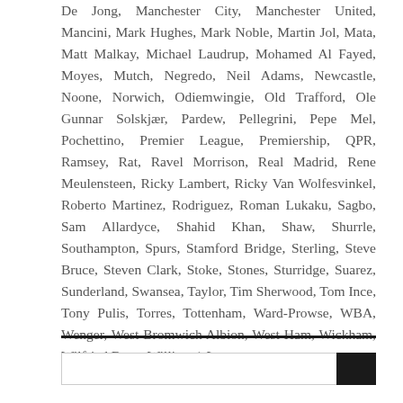De Jong, Manchester City, Manchester United, Mancini, Mark Hughes, Mark Noble, Martin Jol, Mata, Matt Malkay, Michael Laudrup, Mohamed Al Fayed, Moyes, Mutch, Negredo, Neil Adams, Newcastle, Noone, Norwich, Odiemwingie, Old Trafford, Ole Gunnar Solskjær, Pardew, Pellegrini, Pepe Mel, Pochettino, Premier League, Premiership, QPR, Ramsey, Rat, Ravel Morrison, Real Madrid, Rene Meulensteen, Ricky Lambert, Ricky Van Wolfesvinkel, Roberto Martinez, Rodriguez, Roman Lukaku, Sagbo, Sam Allardyce, Shahid Khan, Shaw, Shurrle, Southampton, Spurs, Stamford Bridge, Sterling, Steve Bruce, Steven Clark, Stoke, Stones, Sturridge, Suarez, Sunderland, Swansea, Taylor, Tim Sherwood, Tom Ince, Tony Pulis, Torres, Tottenham, Ward-Prowse, WBA, Wenger, West Bromwich Albion, West Ham, Wickham, Wilfried Bony, Willian / Leave a comment